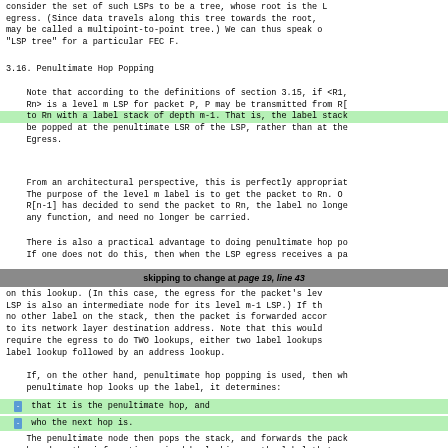consider the set of such LSPs to be a tree, whose root is the egress. (Since data travels along this tree towards the root, may be called a multipoint-to-point tree.)  We can thus speak o "LSP tree" for a particular FEC F.
3.16. Penultimate Hop Popping
Note that according to the definitions of section 3.15, if <R1, Rn> is a level m LSP for packet P, P may be transmitted from R[ to Rn with a label stack of depth m-1. That is, the label stack be popped at the penultimate LSR of the LSP, rather than at the Egress.
From an architectural perspective, this is perfectly appropriat The purpose of the level m label is to get the packet to Rn.  C R[n-1] has decided to send the packet to Rn, the label no longe any function, and need no longer be carried.
There is also a practical advantage to doing penultimate hop po If one does not do this, then when the LSP egress receives a pa
skipping to change at page 19, line 43
on this lookup.  (In this case, the egress for the packet's lev LSP is also an intermediate node for its level m-1 LSP.)  If th no other label on the stack, then the packet is forwarded accor to its network layer destination address.  Note that this would require the egress to do TWO lookups, either two label lookups label lookup followed by an address lookup.
If, on the other hand, penultimate hop popping is used, then wh penultimate hop looks up the label, it determines:
- that it is the penultimate hop, and
- who the next hop is.
The penultimate node then pops the stack, and forwards the pack based on the information gained by looking up the label that w